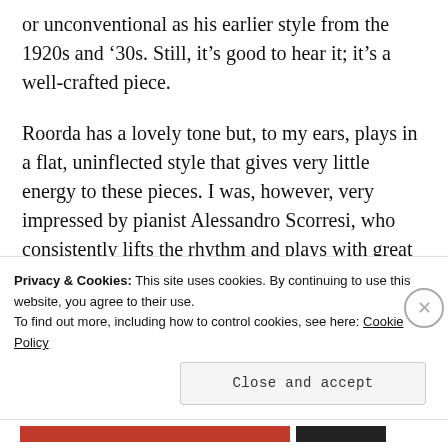or unconventional as his earlier style from the 1920s and ‘30s. Still, it’s good to hear it; it’s a well-crafted piece.
Roorda has a lovely tone but, to my ears, plays in a flat, uninflected style that gives very little energy to these pieces. I was, however, very impressed by pianist Alessandro Scorresi, who consistently lifts the rhythm and plays with great joy.
Privacy & Cookies: This site uses cookies. By continuing to use this website, you agree to their use.
To find out more, including how to control cookies, see here: Cookie Policy
Close and accept